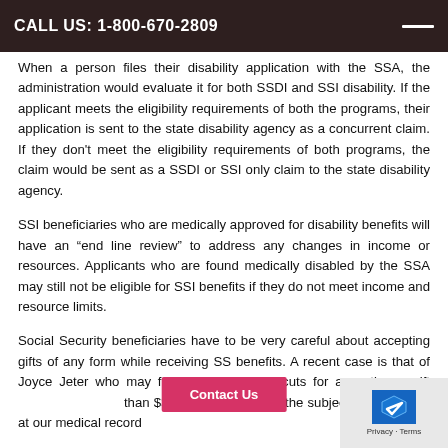CALL US: 1-800-670-2809
When a person files their disability application with the SSA, the administration would evaluate it for both SSDI and SSI disability. If the applicant meets the eligibility requirements of both the programs, their application is sent to the state disability agency as a concurrent claim. If they don't meet the eligibility requirements of both programs, the claim would be sent as a SSDI or SSI only claim to the state disability agency.
SSI beneficiaries who are medically approved for disability benefits will have an “end line review” to address any changes in income or resources. Applicants who are found medically disabled by the SSA may still not be eligible for SSI benefits if they do not meet income and resource limits.
Social Security beneficiaries have to be very careful about accepting gifts of any form while receiving SS benefits. A recent case is that of Joyce Jeter who may face social security cuts for accepting a gift … than $3,700 this news was the subject of discussion at our medical record